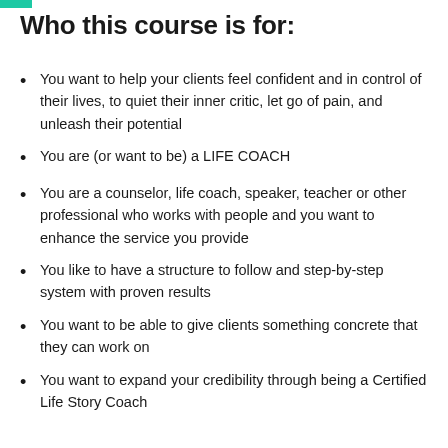Who this course is for:
You want to help your clients feel confident and in control of their lives, to quiet their inner critic, let go of pain, and unleash their potential
You are (or want to be) a LIFE COACH
You are a counselor, life coach, speaker, teacher or other professional who works with people and you want to enhance the service you provide
You like to have a structure to follow and step-by-step system with proven results
You want to be able to give clients something concrete that they can work on
You want to expand your credibility through being a Certified Life Story Coach